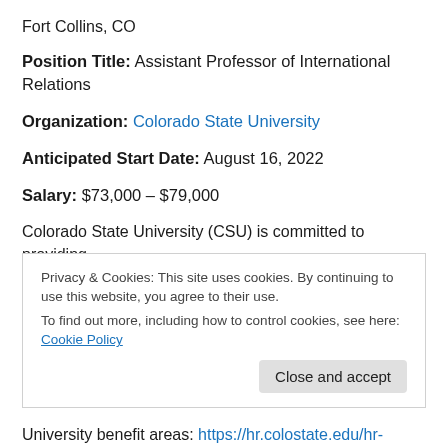Fort Collins, CO
Position Title: Assistant Professor of International Relations
Organization: Colorado State University
Anticipated Start Date: August 16, 2022
Salary: $73,000 – $79,000
Colorado State University (CSU) is committed to providing employees with a strong and competitive benefits package
Privacy & Cookies: This site uses cookies. By continuing to use this website, you agree to their use.
To find out more, including how to control cookies, see here: Cookie Policy
University benefit areas: https://hr.colostate.edu/hr-